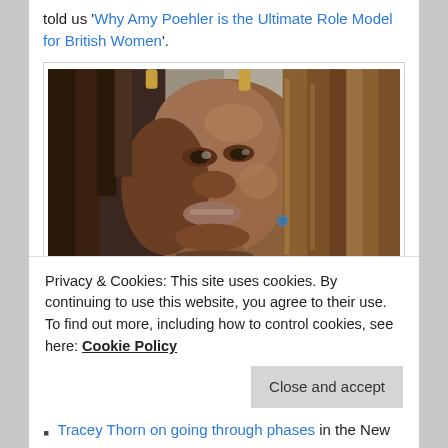told us 'Why Amy Poehler is the Ultimate Role Model for British Women'.
[Figure (photo): Close-up portrait photo of a Black woman with braided hair, looking upward, against a grey background.]
The best of the rest articles/essays:
Privacy & Cookies: This site uses cookies. By continuing to use this website, you agree to their use.
To find out more, including how to control cookies, see here: Cookie Policy
Tracey Thorn on going through phases in the New